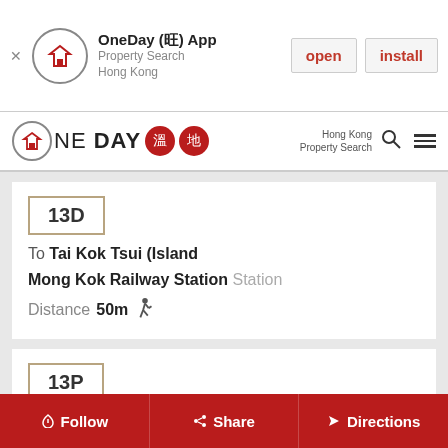[Figure (screenshot): App install banner for OneDay (旺) App - Property Search Hong Kong, with open and install buttons]
[Figure (logo): OneDay logo with Chinese characters and navigation icons for Hong Kong Property Search]
13D
To Tai Kok Tsui (Island
Mong Kok Railway Station Station
Distance 50m
13P
To LAI KOK
Mong Kok Railway Station Station
Follow   Share   Directions